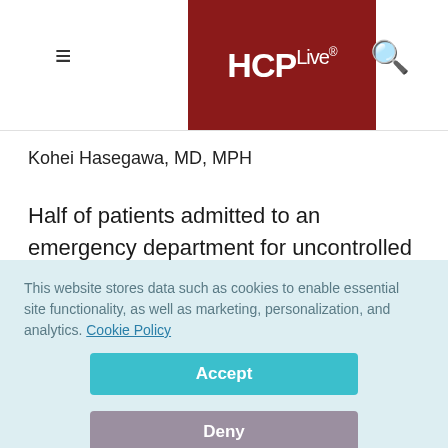HCPLive®
Kohei Hasegawa, MD, MPH
Half of patients admitted to an emergency department for uncontrolled asthma had unknowingly emptied their bronchodilator inhaler, and half of those patients were
This website stores data such as cookies to enable essential site functionality, as well as marketing, personalization, and analytics. Cookie Policy
Accept
Deny